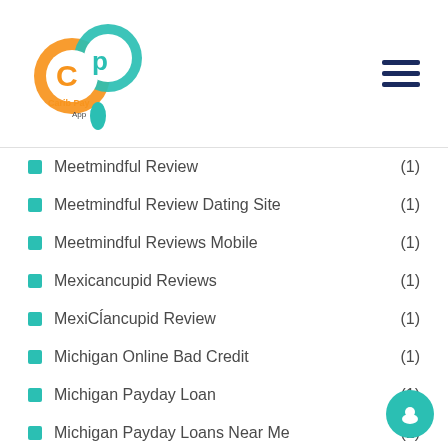[Figure (logo): Carib Pay App logo - circular orange and teal design with 'Carib Pay App' text]
Meetmindful Review (1)
Meetmindful Review Dating Site (1)
Meetmindful Reviews Mobile (1)
Mexicancupid Reviews (1)
MexiCĺancupid Review (1)
Michigan Online Bad Credit (1)
Michigan Payday Loan (1)
Michigan Payday Loans Near Me (1)
Milfaholic Promo Code (1)
Milfaholic Reddit (1)
Milfaholic Reviews (1)